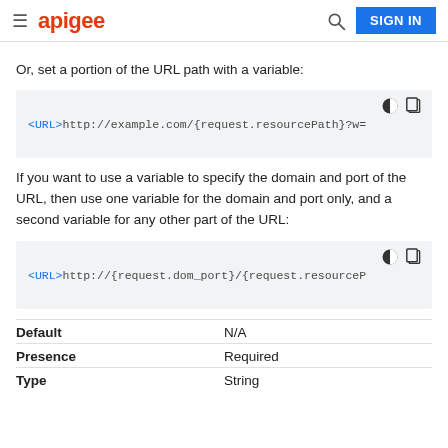apigee | SIGN IN
Or, set a portion of the URL path with a variable:
[Figure (screenshot): Code block showing: <URL>http://example.com/{request.resourcePath}?w=]
If you want to use a variable to specify the domain and port of the URL, then use one variable for the domain and port only, and a second variable for any other part of the URL:
[Figure (screenshot): Code block showing: <URL>http://{request.dom_port}/{request.resourceP]
| Default | N/A |
| Presence | Required |
| Type | String |